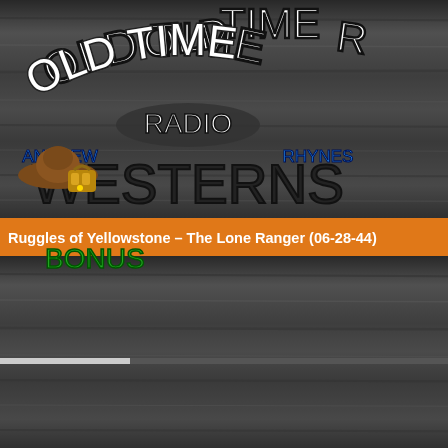[Figure (screenshot): Old Time Radio Westerns podcast app screenshot showing two stacked album artwork images with 'OLD TIME RADIO WESTERNS' text by Andrew Rhynes, orange title bar showing 'Ruggles of Yellowstone – The Lone Ranger (06-28-44)', a star rating icon, time display showing 29:54, progress bar, Privacy Policy side tab, and a partial thumbnail panel on the right side.]